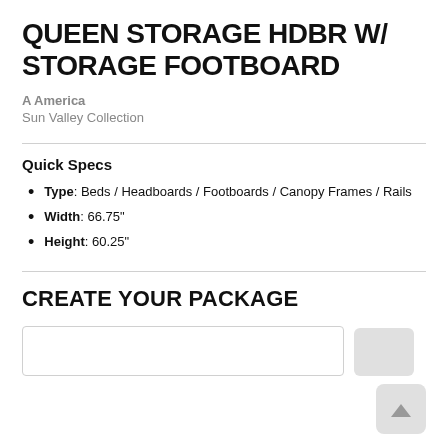QUEEN STORAGE HDBR W/ STORAGE FOOTBOARD
A America
Sun Valley Collection
Quick Specs
Type: Beds / Headboards / Footboards / Canopy Frames / Rails
Width: 66.75"
Height: 60.25"
CREATE YOUR PACKAGE